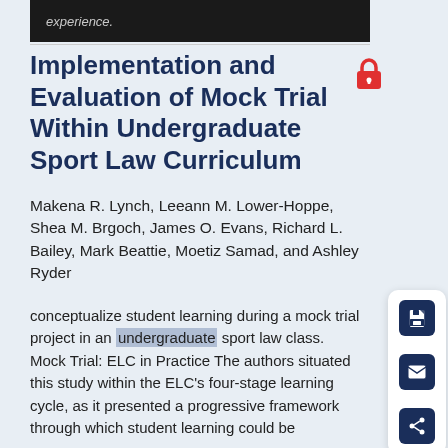experience.
Implementation and Evaluation of Mock Trial Within Undergraduate Sport Law Curriculum
Makena R. Lynch, Leeann M. Lower-Hoppe, Shea M. Brgoch, James O. Evans, Richard L. Bailey, Mark Beattie, Moetiz Samad, and Ashley Ryder
conceptualize student learning during a mock trial project in an undergraduate sport law class. Mock Trial: ELC in Practice The authors situated this study within the ELC's four-stage learning cycle, as it presented a progressive framework through which student learning could be